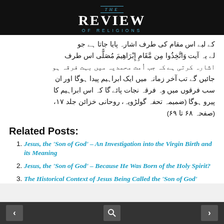THE REVIEW OF RELIGIONS
Urdu text block (Arabic script) referencing Maqam Ibrahim, Ummat Muhammadiyya, and related religious commentary. (Roohani Khazain, Vol. 17, pages 68-69)
Related Posts:
Jesus, the 'Son of God' – An Investigation into the Virgin Birth and its Meaning
Jesus, the 'Son of God' – Because He Was Born of the Holy Spirit?
The Historical Context of Jesus Being Called the 'Son of God'
< search >